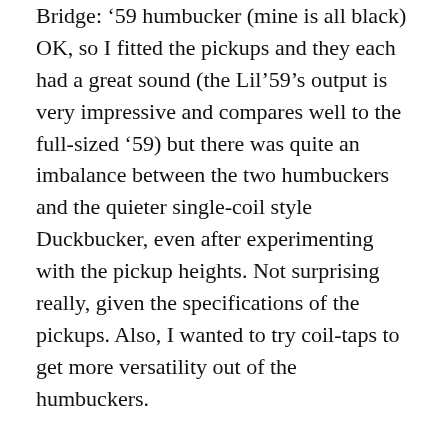Bridge: '59 humbucker (mine is all black) OK, so I fitted the pickups and they each had a great sound (the Lil'59's output is very impressive and compares well to the full-sized '59) but there was quite an imbalance between the two humbuckers and the quieter single-coil style Duckbucker, even after experimenting with the pickup heights. Not surprising really, given the specifications of the pickups. Also, I wanted to try coil-taps to get more versatility out of the humbuckers.
I decided I wanted to modify the wiring so that I could have either the two humbuckers on, switched like a Les Paul (HH), with the humbuckers wired parallel for...